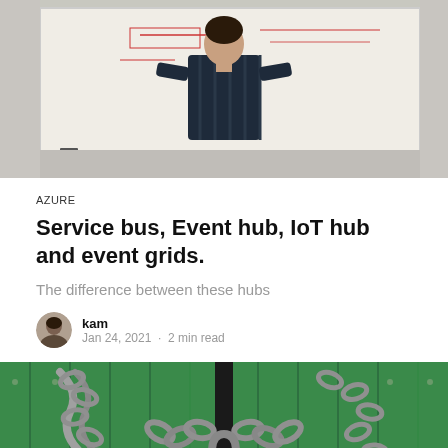[Figure (photo): Person standing with back turned, looking at a whiteboard with writing on it]
AZURE
Service bus, Event hub, IoT hub and event grids.
The difference between these hubs
kam
Jan 24, 2021 · 2 min read
[Figure (photo): Green wooden doors locked with a heavy metal chain and padlock]